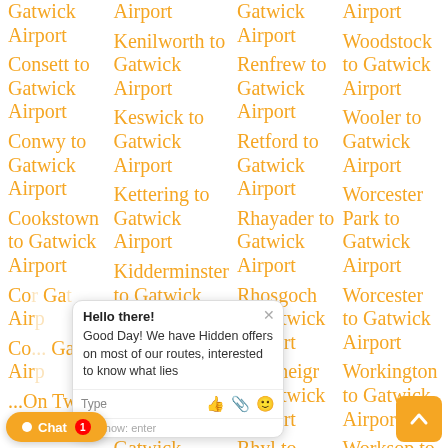Gatwick Airport
Consett to Gatwick Airport
Conwy to Gatwick Airport
Cookstown to Gatwick Airport
Cor... to Gatwick Airport
Co... to Gatwick Airport
...On Tweed to...
Airport
Kenilworth to Gatwick Airport
Keswick to Gatwick Airport
Kettering to Gatwick Airport
Kidderminster to Gatwick Airport
Kidlington to Gatwick Airport
Kilbirnie to Gatwick Airport
Gatwick Airport
Renfrew to Gatwick Airport
Retford to Gatwick Airport
Rhayader to Gatwick Airport
Rhosgoch to Gatwick Airport
Rhosneigr to Gatwick Airport
Rhyl to Gatwick
Airport
Woodstock to Gatwick Airport
Wooler to Gatwick Airport
Worcester Park to Gatwick Airport
Worcester to Gatwick Airport
Workington to Gatwick Airport
Worksop to Gatwick